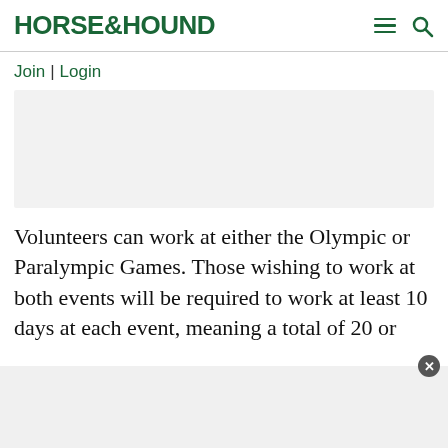HORSE&HOUND
Join | Login
[Figure (other): Advertisement banner placeholder (light grey rectangle)]
Volunteers can work at either the Olympic or Paralympic Games. Those wishing to work at both events will be required to work at least 10 days at each event, meaning a total of 20 or
[Figure (other): Advertisement banner at bottom of page (light grey rectangle) with close button]